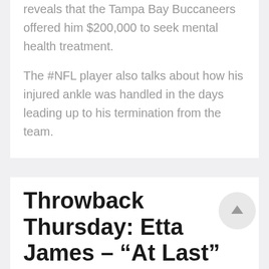reveals that the Tampa Bay Buccaneers offered him $200,000 to seek mental health treatment.
The #NFL player also talks about how his injured ankle was handled in the days leading up to his termination from the team.
Throwback Thursday: Etta James – “At Last” (Live)